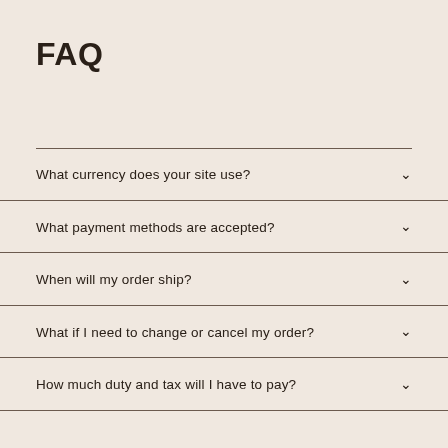FAQ
What currency does your site use?
What payment methods are accepted?
When will my order ship?
What if I need to change or cancel my order?
How much duty and tax will I have to pay?